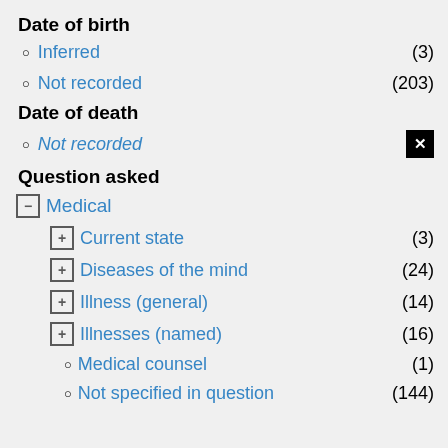Date of birth
Inferred (3)
Not recorded (203)
Date of death
Not recorded [x]
Question asked
Medical (tree node, collapsed minus)
Current state (3)
Diseases of the mind (24)
Illness (general) (14)
Illnesses (named) (16)
Medical counsel (1)
Not specified in question (144)